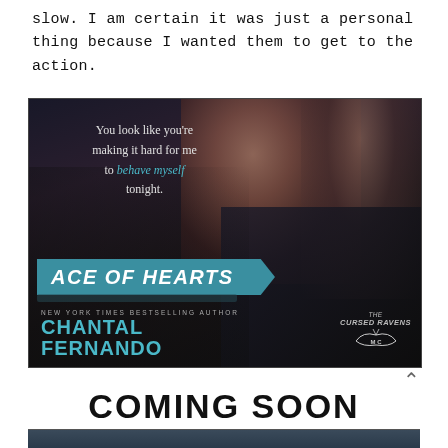slow. I am certain it was just a personal thing because I wanted them to get to the action.
[Figure (illustration): Book cover for 'Ace of Hearts' by Chantal Fernando (New York Times Bestselling Author). Dark romantic image with a woman and man in close proximity. Quote reads: 'You look like you're making it hard for me to behave myself tonight.' Teal banner with title. The Cursed Ravens MC logo in bottom right.]
COMING SOON